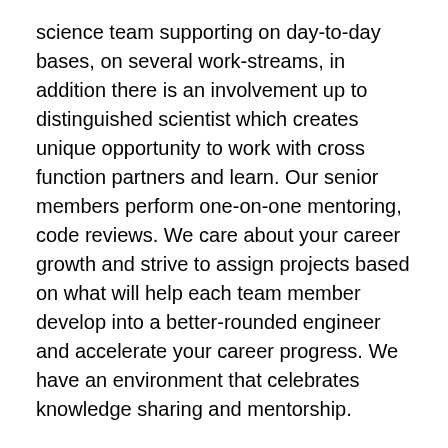science team supporting on day-to-day bases, on several work-streams, in addition there is an involvement up to distinguished scientist which creates unique opportunity to work with cross function partners and learn. Our senior members perform one-on-one mentoring, code reviews. We care about your career growth and strive to assign projects based on what will help each team member develop into a better-rounded engineer and accelerate your career progress. We have an environment that celebrates knowledge sharing and mentorship.
Inclusive Team Culture: Here at SCOT, we embrace our differences. We are committed to furthering our culture of inclusion. We have many employee-led affinity groups, reaching many employees in over many chapters globally. We have innovative benefit offerings, and we host annual and ongoing learning experiences, including our Conversations on Race and Ethnicity (CORE) and